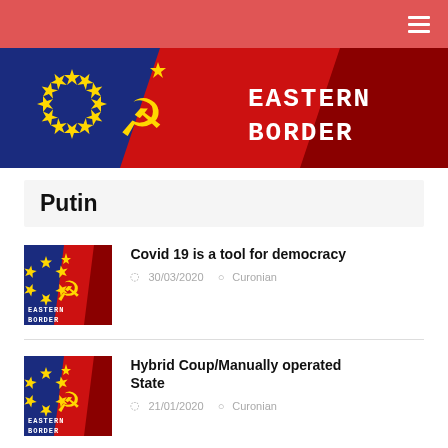Eastern Border - navigation bar
[Figure (logo): Eastern Border website banner with EU flag stars on blue background left, hammer and sickle symbol on red background right, text EASTERN BORDER in white monospace font]
Putin
[Figure (logo): Eastern Border thumbnail image - EU flag stars on blue/red background with hammer sickle and EASTERN BORDER text]
Covid 19 is a tool for democracy
30/03/2020  Curonian
[Figure (logo): Eastern Border thumbnail image - EU flag stars on blue/red background with hammer sickle and EASTERN BORDER text]
Hybrid Coup/Manually operated State
21/01/2020  Curonian